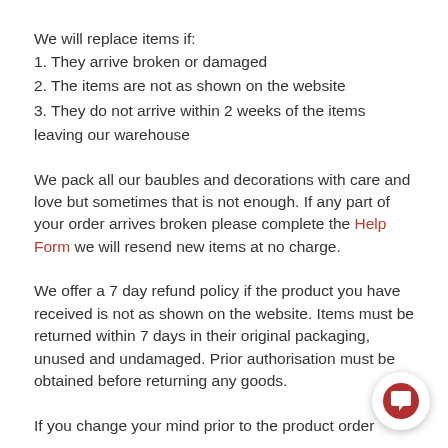We will replace items if:
1. They arrive broken or damaged
2. The items are not as shown on the website
3. They do not arrive within 2 weeks of the items leaving our warehouse
We pack all our baubles and decorations with care and love but sometimes that is not enough. If any part of your order arrives broken please complete the Help Form we will resend new items at no charge.
We offer a 7 day refund policy if the product you have received is not as shown on the website. Items must be returned within 7 days in their original packaging, unused and undamaged. Prior authorisation must be obtained before returning any goods.
If you change your mind prior to the product order